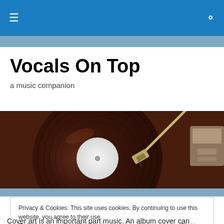≡  🔍
Vocals On Top
a music companion
[Figure (photo): Close-up photograph of a vinyl record on a turntable with a tonearm and cartridge visible]
Privacy & Cookies: This site uses cookies. By continuing to use this website, you agree to their use.
To find out more, including how to control cookies, see here: Cookie Policy
[Close and accept button]
Cover art is an important part music. An album cover can